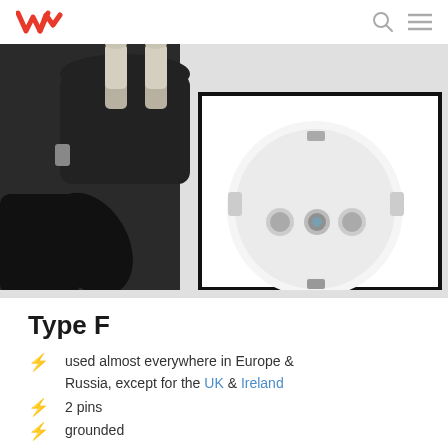VM logo, search icon, menu icon
[Figure (photo): Close-up photo of a Type F European electrical plug with two round metal pins and grounding clips, being inserted into a white Type F wall socket with two holes and a grounding contact, on a light background. A black rectangle outlines the socket.]
Type F
used almost everywhere in Europe & Russia, except for the UK & Ireland
2 pins
grounded